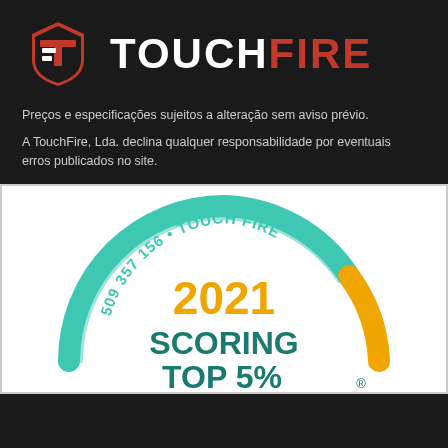[Figure (logo): TouchFire company logo with shield/TF emblem on the left and TOUCHFIRE text on the right in white and red]
Preços e especificações sujeitos a alteração sem aviso prévio.
A TouchFire, Lda. declina qualquer responsabilidade por eventuais erros publicados no site.
[Figure (infographic): Circular badge/award graphic showing '509 357 156 • TOUCH FIRE' text along the arc, '2021' in orange, 'SCORING TOP 5%' in teal/dark green, with a speedometer-style arc in teal and orange colors on white background.]